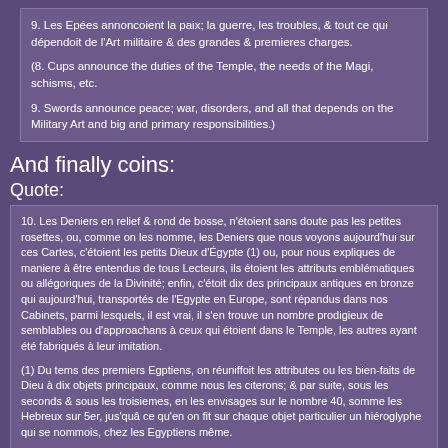9. Les Epées annoncoient la paix; la guerre, les troubles, & tout ce qui dépendoit de l'Art militaire & des grandes & premieres charges.

(8. Cups announce the duties of the Temple, the needs of the Magi, schisms, etc.

9. Swords announce peace; war, disorders, and all that depends on the Military Art and big and primary responsibilities.)
And finally coins:
Quote:
10. Les Deniers en relief & rond de bosse, n'étoient sans doute pas les petites rosettes, ou, comme on les nomme, les Deniers que nous voyons aujourd'hui sur ces Cartes, c'étoient les petits Dieux d'Égypte (1) ou, pour nous expliques de maniere à être entendus de tous Lecteurs, ils étoient les attributs emblématiques ou allégoriques de la Divinité; enfin, c'étoit dix des principaux antiques en bronze qui aujourd'hui, transportés de l'Egypte en Europe, sont répandus dans nos Cabinets, parmi lesquels, il est vrai, il s'en trouve un nombre prodigieux de semblables ou d'approachans à ceux qui étoient dans le Temple, les autres ayant été fabriqués à leur imitation.

(1) Du tems des premiers Egptiens, on réuniffoit les attributes ou les bien-faits de Dieu à dix objets principaux, comme nous les citerons; & par suite, sous les seconds & sous les troisiemes, en les envisages sur le nombre 40, somme les Hebreux sur 5er, jus'quâ ce qu'en on fit sur chaque objet particulier un hiéroglyphe qui se nommois, chez les Egyptiens même.

(10. The Coins in relief and embossed circles were doubtless not the small rosettes, or, as we call them, the Coins which we see on these Cards today; they were the small Gods of Egypt (1) or, for us explain in a manner explicable to every Reader, they were the symbolic or allegorical attributes of the Divinity; finally, they were ten of the main antique bronzes which today, transported from Egypt to Europe, are widespread in our Offices, among which, it is true, there is